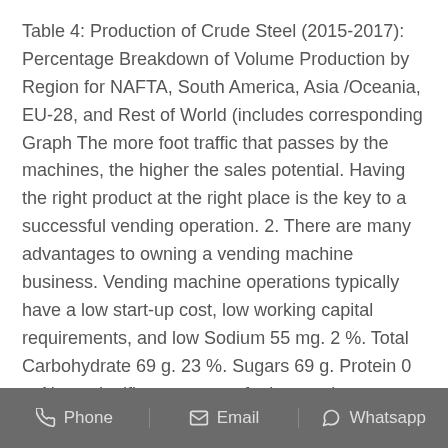Table 4: Production of Crude Steel (2015-2017): Percentage Breakdown of Volume Production by Region for NAFTA, South America, Asia /Oceania, EU-28, and Rest of World (includes corresponding Graph The more foot traffic that passes by the machines, the higher the sales potential. Having the right product at the right place is the key to a successful vending operation. 2. There are many advantages to owning a vending machine business. Vending machine operations typically have a low start-up cost, low working capital requirements, and low Sodium 55 mg. 2 %. Total Carbohydrate 69 g. 23 %. Sugars 69 g. Protein 0 g. Not a significant source of other nutrients. *Percent Daily Values are based on a 2,000 calorie diet. Last updated on December 4, 2017.
Phone  Email  Whatsapp